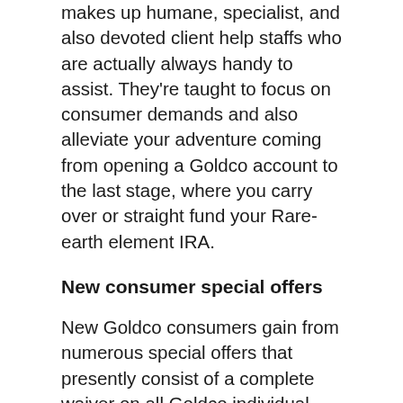makes up humane, specialist, and also devoted client help staffs who are actually always handy to assist. They're taught to focus on consumer demands and also alleviate your adventure coming from opening a Goldco account to the last stage, where you carry over or straight fund your Rare-earth element IRA.
New consumer special offers
New Goldco consumers gain from numerous special offers that presently consist of a complete waiver on all Goldco individual retirement account costs for $50,000 as well as over accounts. Together with this, brand new Goldco entrepreneurs are positioned to get 5% repayment as complimentary rare-